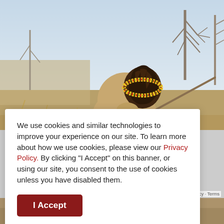[Figure (photo): Photograph of a person with braided hair and colorful beaded headband, viewed from behind/side in an outdoor dry savanna landscape with bare trees and dry grass in background, light blue sky.]
We use cookies and similar technologies to improve your experience on our site. To learn more about how we use cookies, please view our Privacy Policy. By clicking "I Accept" on this banner, or using our site, you consent to the use of cookies unless you have disabled them.
I Accept
Privacy · Terms